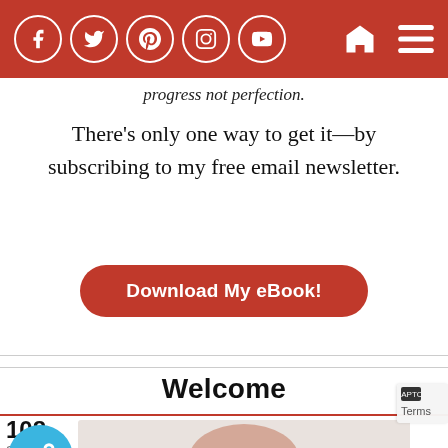Social media navigation bar with Facebook, Twitter, Pinterest, Instagram, YouTube icons and home/menu icons
progress not perfection.
There's only one way to get it—by subscribing to my free email newsletter.
Download My eBook!
Welcome
108 Shares